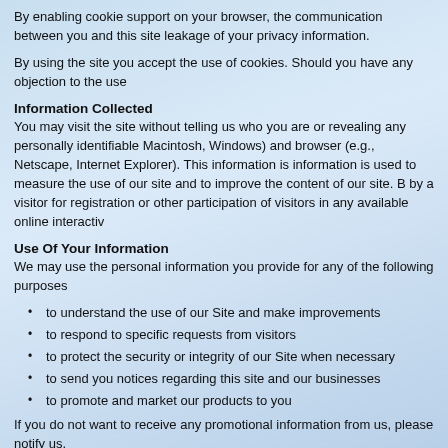By enabling cookie support on your browser, the communication between you and this site leakage of your privacy information.
By using the site you accept the use of cookies. Should you have any objection to the use
Information Collected
You may visit the site without telling us who you are or revealing any personally identifiable Macintosh, Windows) and browser (e.g., Netscape, Internet Explorer). This information is information is used to measure the use of our site and to improve the content of our site. B by a visitor for registration or other participation of visitors in any available online interactiv
Use Of Your Information
We may use the personal information you provide for any of the following purposes
to understand the use of our Site and make improvements
to respond to specific requests from visitors
to protect the security or integrity of our Site when necessary
to send you notices regarding this site and our businesses
to promote and market our products to you
If you do not want to receive any promotional information from us, please notify us.
Disclosures Of Your Information
Unless otherwise disclosed during the collection, personally identifiable information that m Heraldry Society. We do not sell, transfer or otherwise disclose this personally identifiable
Access Rights
You have a right to access the personal data that is held about you. Please write to us at t The Secretary, Lancashire Family History & Heraldry Society,